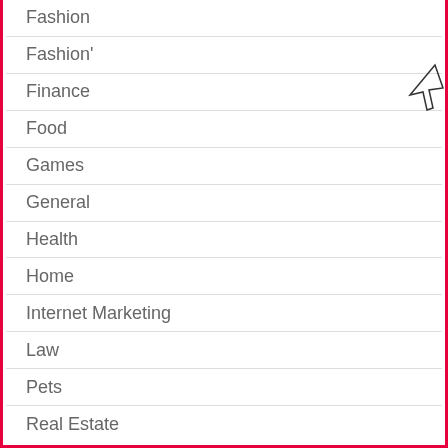Fashion
Fashion'
Finance
Food
Games
General
Health
Home
Internet Marketing
Law
Pets
Real Estate